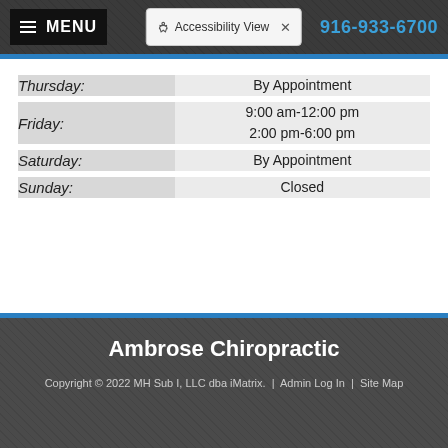MENU  Accessibility View  916-933-6700
| Day | Hours |
| --- | --- |
| Thursday: | By Appointment |
| Friday: | 9:00 am-12:00 pm
2:00 pm-6:00 pm |
| Saturday: | By Appointment |
| Sunday: | Closed |
Ambrose Chiropractic
Copyright © 2022 MH Sub I, LLC dba iMatrix. | Admin Log In | Site Map